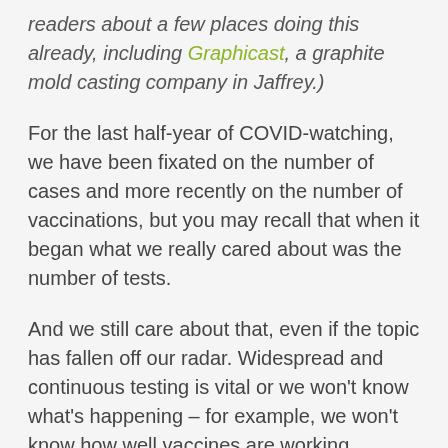readers about a few places doing this already, including Graphicast, a graphite mold casting company in Jaffrey.)
For the last half-year of COVID-watching, we have been fixated on the number of cases and more recently on the number of vaccinations, but you may recall that when it began what we really cared about was the number of tests.
And we still care about that, even if the topic has fallen off our radar. Widespread and continuous testing is vital or we won't know what's happening – for example, we won't know how well vaccines are working.